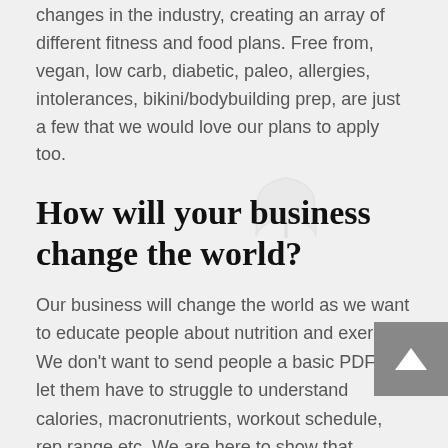changes in the industry, creating an array of different fitness and food plans. Free from, vegan, low carb, diabetic, paleo, allergies, intolerances, bikini/bodybuilding prep, are just a few that we would love our plans to apply too.
How will your business change the world?
Our business will change the world as we want to educate people about nutrition and exercise. We don't want to send people a basic PDF and let them have to struggle to understand calories, macronutrients, workout schedule, rep range etc. We are here to show that healthy eating and working out can be affordable, enjoyable and you can apply it as a lifestyle rather than just a diet.